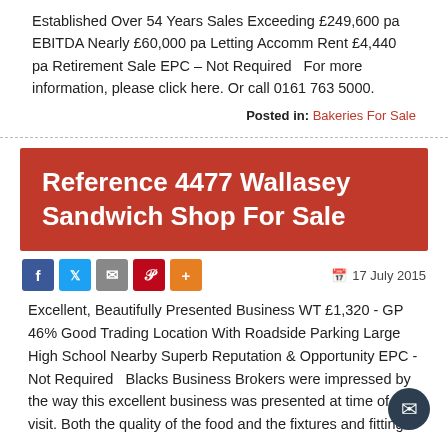Established Over 54 Years Sales Exceeding £249,600 pa EBITDA Nearly £60,000 pa Letting Accomm Rent £4,440 pa Retirement Sale EPC – Not Required   For more information, please click here. Or call 0161 763 5000.
Posted in: Bakeries For Sale
Reference 4477 Wallasey Sandwich Shop For Sale
17 July 2015
Excellent, Beautifully Presented Business WT £1,320 - GP 46% Good Trading Location With Roadside Parking Large High School Nearby Superb Reputation & Opportunity EPC - Not Required   Blacks Business Brokers were impressed by the way this excellent business was presented at time of our visit. Both the quality of the food and the fixtures and fittings